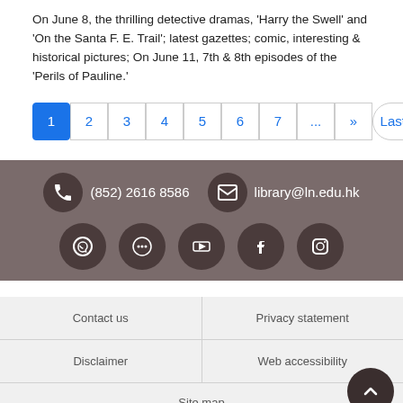On June 8, the thrilling detective dramas, 'Harry the Swell' and 'On the Santa F. E. Trail'; latest gazettes; comic, interesting & historical pictures; On June 11, 7th & 8th episodes of the 'Perils of Pauline.'
Pagination: 1 (active), 2, 3, 4, 5, 6, 7, ..., >>, Last »
[Figure (infographic): Library contact footer bar with dark brown background. Phone icon with (852) 2616 8586 and envelope icon with library@ln.edu.hk. Social media icons: WhatsApp, chat bubble, YouTube, Facebook, Instagram.]
Contact us
Privacy statement
Disclaimer
Web accessibility
Site map